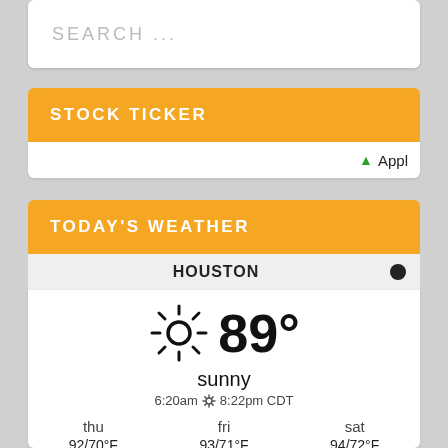SEARCH ...
STOCK TICKER
↑ Appl
TODAY'S WEATHER
HOUSTON
[Figure (infographic): Weather widget showing 89° sunny, sun icon, sunrise 6:20am sunset 8:22pm CDT, and forecast for thu 92/70°F, fri 93/71°F, sat 94/72°F with sun icons]